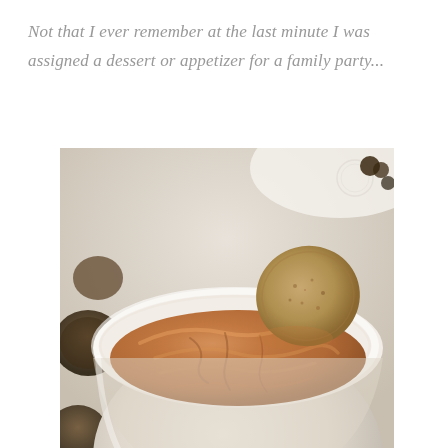Not that I ever remember at the last minute I was assigned a dessert or appetizer for a family party...
[Figure (photo): Close-up photo of a white bowl filled with creamy pumpkin dip, with a round gingersnap cookie resting on the rim. Surrounded by additional gingersnap cookies and a white doily in the background.]